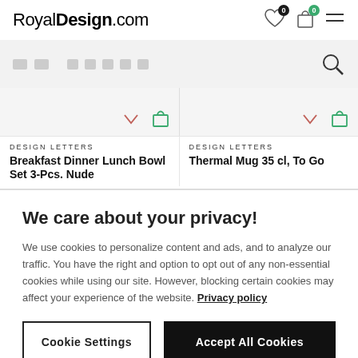RoyalDesign.com
[Figure (screenshot): Search bar with redacted text and magnifying glass icon]
[Figure (screenshot): Two product cards partially visible: Design Letters Breakfast Dinner Lunch Bowl Set 3-Pcs. Nude, and Design Letters Thermal Mug 35 cl, To Go]
We care about your privacy!
We use cookies to personalize content and ads, and to analyze our traffic. You have the right and option to opt out of any non-essential cookies while using our site. However, blocking certain cookies may affect your experience of the website. Privacy policy
Cookie Settings | Accept All Cookies